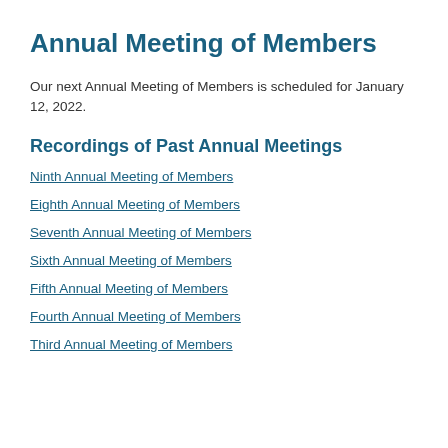Annual Meeting of Members
Our next Annual Meeting of Members is scheduled for January 12, 2022.
Recordings of Past Annual Meetings
Ninth Annual Meeting of Members
Eighth Annual Meeting of Members
Seventh Annual Meeting of Members
Sixth Annual Meeting of Members
Fifth Annual Meeting of Members
Fourth Annual Meeting of Members
Third Annual Meeting of Members